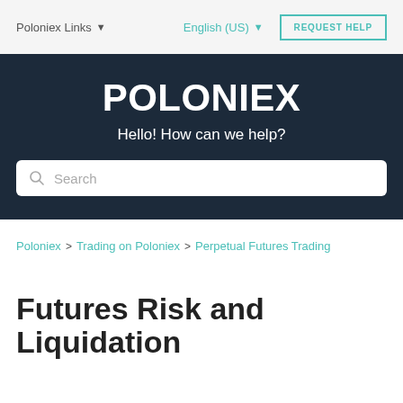Poloniex Links   English (US)   REQUEST HELP
[Figure (other): POLONIEX hero banner with tagline 'Hello! How can we help?' and a search bar]
Poloniex > Trading on Poloniex > Perpetual Futures Trading
Futures Risk and Liquidation